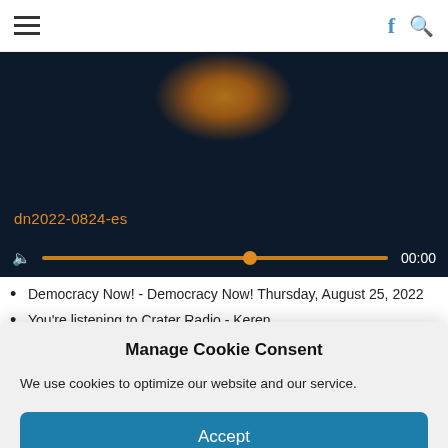☰  f 🔍
[Figure (screenshot): Audio/video player with dark navy background, orange glow at top center, text 'dn2022-0824-es' in orange, and a playback progress bar with volume icon and time '00:00']
Democracy Now! - Democracy Now! Thursday, August 25, 2022
You're listening to Crater Radio - Keren
Crater Radio - Rethke Organizing Report CORR5050: The Asian Pivot...
Manage Cookie Consent
We use cookies to optimize our website and our service.
Accept